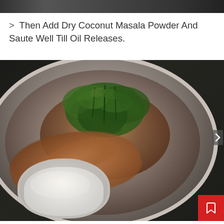[Figure (photo): Top portion of a food preparation photo, partially cropped, showing a dark cooking scene from previous step]
> Then Add Dry Coconut Masala Powder And Saute Well Till Oil Releases.
[Figure (photo): A cooking pan viewed from above with green herbs/curry leaves and masala being sautéed. A hand is mixing the ingredients. A small bowl of dry coconut masala powder is visible at the bottom. A red bookmark/cursor button appears at the bottom right corner.]